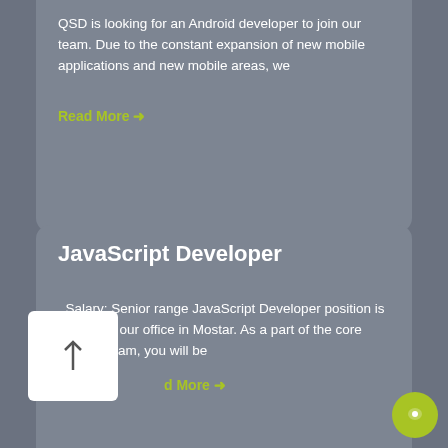QSD is looking for an Android developer to join our team. Due to the constant expansion of new mobile applications and new mobile areas, we
Read More →
JavaScript Developer
Salary: Senior range JavaScript Developer position is located in our office in Mostar. As a part of the core product team, you will be
Read More →